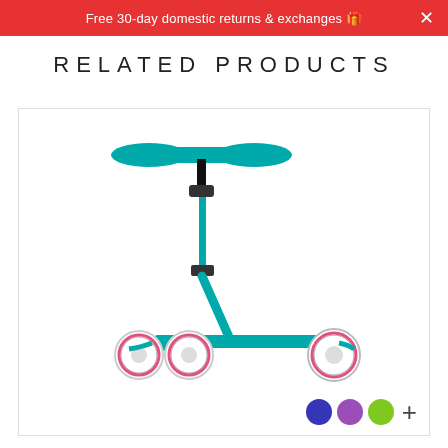Free 30-day domestic returns & exchanges 🎁
RELATED PRODUCTS
[Figure (photo): A teal/turquoise three-wheeled Micro Mini Scooter with T-bar handlebar, two front wheels and one rear wheel, with color swatches (blue, purple, green) and a plus sign shown at bottom right of the product card.]